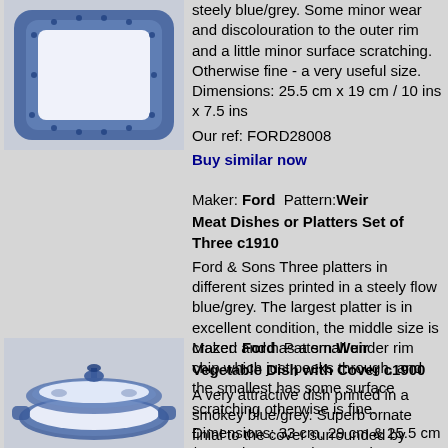[Figure (photo): Blue and white rectangular meat dish/platter viewed from above, with ornate blue floral border pattern on white ceramic]
steely blue/grey. Some minor wear and discolouration to the outer rim and a little minor surface scratching. Otherwise fine - a very useful size. Dimensions: 25.5 cm x 19 cm / 10 ins x 7.5 ins
Our ref: FORD28008
Buy similar now
Maker: Ford  Pattern:Weir
Meat Dishes or Platters Set of Three c1910
Ford & Sons Three platters in different sizes printed in a steely flow blue/grey. The largest platter is in excellent condition, the middle size is crazed and has a small under rim chip which just peeks through, and the smallest has some surface scratching otherwise is fine.
Dimensions: 33 cm, 29 cm & 25.5 cm / 12.75 ins, 11.25 ins & 10 ins
Our ref: FORD31036
Buy similar now
Maker: Ford  Pattern:Weir
Vegetable Dish with Cover c1900
A very attractive dish printed in a smokey blue/grey. Superb ornate finial to the cover surrounded by moulded relief. Cover has light crazing.
[Figure (photo): Blue and white covered vegetable dish with ornate finial handle on lid, blue floral pattern on white ceramic]